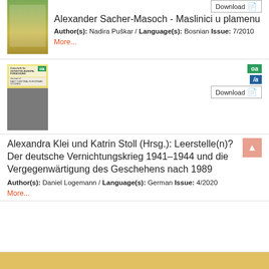[Figure (illustration): Book cover for Alexander Sacher-Masoch - Maslinici u plamenu, olive/green background with figures]
Alexander Sacher-Masoch - Maslinici u plamenu
Author(s): Nadira Puškar / Language(s): Bosnian Issue: 7/2010
More...
[Figure (illustration): Book cover for Zeitschrift für Ostmitteleuropa-Forschung / Journal of East Central European Studies, yellow cover with historical photos]
Alexandra Klei und Katrin Stoll (Hrsg.): Leerstelle(n)? Der deutsche Vernichtungskrieg 1941–1944 und die Vergegenwärtigung des Geschehens nach 1989
Author(s): Daniel Logemann / Language(s): German Issue: 4/2020
More...